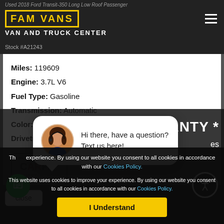Used 2018 Ford Transit-350 Long Low Roof Passenger — FAM VANS VAN AND TRUCK CENTER
Stock #A21243
Miles: 119609
Engine: 3.7L V6
Fuel Type: Gasoline
Transmission: Automatic
Color: Silver
Drivetrain: Rear Wheel Drive
[Figure (logo): CARFAX vehicle history reports badge — SHOW ME THE FREE CARFAX]
close
ANTY *
es
[Figure (photo): Customer service representative avatar for live chat widget]
Hi there, have a question? Text us here!
This website uses cookies to improve your experience. By using our website you consent to all cookies in accordance with our Cookies Policy.
I Understand